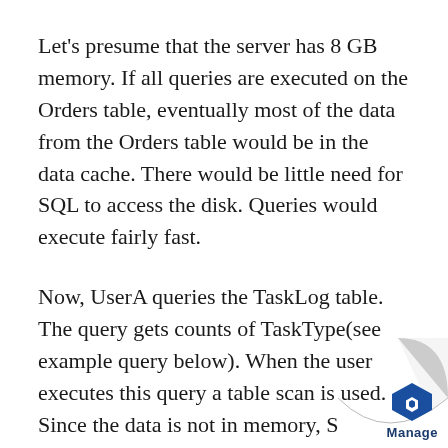Let's presume that the server has 8 GB memory. If all queries are executed on the Orders table, eventually most of the data from the Orders table would be in the data cache. There would be little need for SQL to access the disk. Queries would execute fairly fast.
Now, UserA queries the TaskLog table. The query gets counts of TaskType(see example query below). When the user executes this query a table scan is used. Since the data is not in memory, SQL Server will transfer the data from disk to memory. The problem is that there is not enough memory to contain both the Orders and TaskLog table. Since the
[Figure (illustration): Page curl effect in bottom-right corner with Manage logo (hexagon icon and 'Manage' text)]